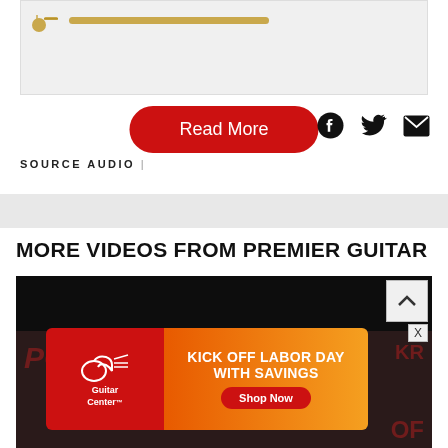[Figure (screenshot): Gray content box with guitar icon and progress bar at top of page]
[Figure (illustration): Red rounded 'Read More' button]
[Figure (illustration): Social share icons: Facebook, Twitter, Email]
SOURCE AUDIO  |
[Figure (screenshot): Gray divider strip]
MORE VIDEOS FROM PREMIER GUITAR
[Figure (screenshot): Dark video thumbnail with PG logo overlay and scroll-up button, Guitar Center 'Kick Off Labor Day With Savings' ad banner with Shop Now button]